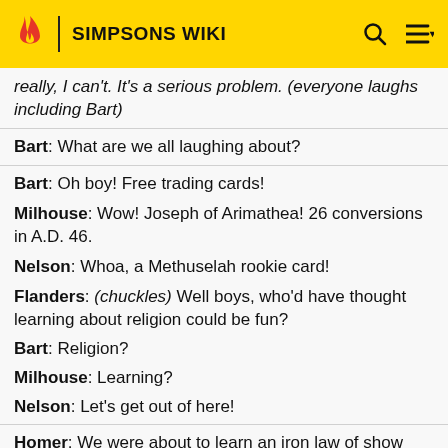SIMPSONS WIKI
really, I can't. It's a serious problem. (everyone laughs including Bart)
Bart: What are we all laughing about?
Bart: Oh boy! Free trading cards!
Milhouse: Wow! Joseph of Arimathea! 26 conversions in A.D. 46.
Nelson: Whoa, a Methuselah rookie card!
Flanders: (chuckles) Well boys, who'd have thought learning about religion could be fun?
Bart: Religion?
Milhouse: Learning?
Nelson: Let's get out of here!
Homer: We were about to learn an iron law of show business; what goes up must come down.
Lisa: What about Bart? Has Bart...come out of his...